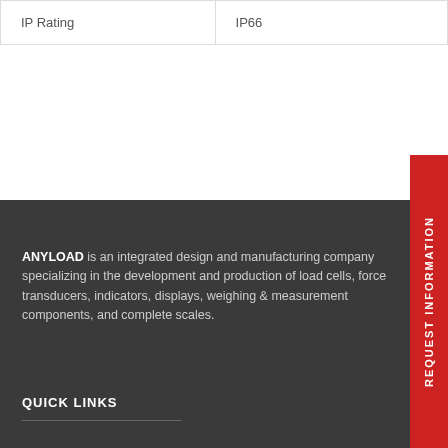| IP Rating | IP66 |
ANYLOAD is an integrated design and manufacturing company specializing in the development and production of load cells, force transducers, indicators, displays, weighing & measurement components, and complete scales.
QUICK LINKS